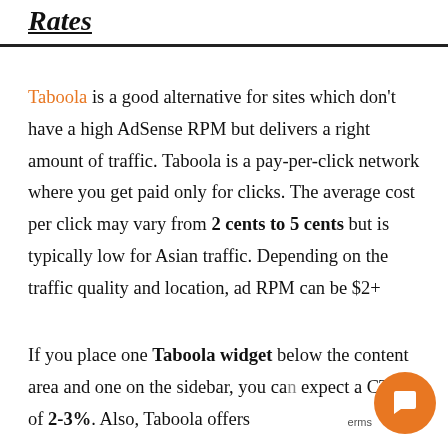Rates
Taboola is a good alternative for sites which don't have a high AdSense RPM but delivers a right amount of traffic. Taboola is a pay-per-click network where you get paid only for clicks. The average cost per click may vary from 2 cents to 5 cents but is typically low for Asian traffic. Depending on the traffic quality and location, ad RPM can be $2+
If you place one Taboola widget below the content area and one on the sidebar, you can expect a CTR of 2-3%. Also, Taboola offers